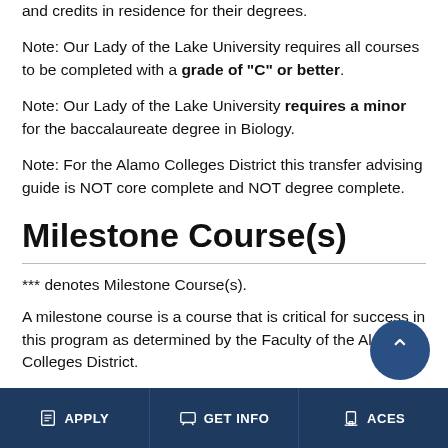and credits in residence for their degrees.
Note: Our Lady of the Lake University requires all courses to be completed with a grade of “C” or better.
Note: Our Lady of the Lake University requires a minor for the baccalaureate degree in Biology.
Note: For the Alamo Colleges District this transfer advising guide is NOT core complete and NOT degree complete.
Milestone Course(s)
*** denotes Milestone Course(s).
A milestone course is a course that is critical for success in this program as determined by the Faculty of the Alamo Colleges District.
APPLY   GET INFO   ACES